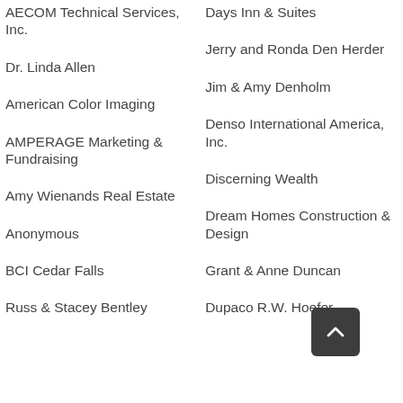AECOM Technical Services, Inc.
Days Inn & Suites
Dr. Linda Allen
Jerry and Ronda Den Herder
American Color Imaging
Jim & Amy Denholm
AMPERAGE Marketing & Fundraising
Denso International America, Inc.
Amy Wienands Real Estate
Discerning Wealth
Anonymous
Dream Homes Construction & Design
BCI Cedar Falls
Grant & Anne Duncan
Russ & Stacey Bentley
Dupaco R.W. Hoefer